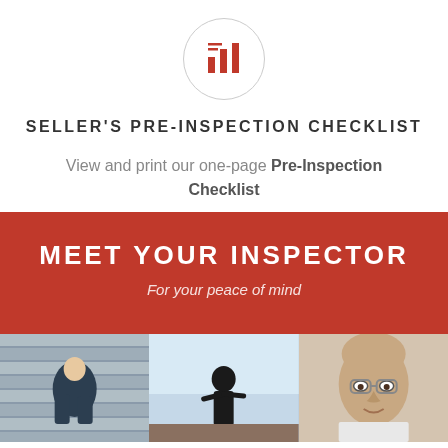[Figure (logo): Circular logo with red bar chart/inspection icon inside a light gray circle border]
SELLER'S PRE-INSPECTION CHECKLIST
View and print our one-page Pre-Inspection Checklist
MEET YOUR INSPECTOR
For your peace of mind
[Figure (photo): Three side-by-side photos: left shows an inspector bending down near siding, middle shows a person on a rooftop against the sky, right shows a bald man with glasses]